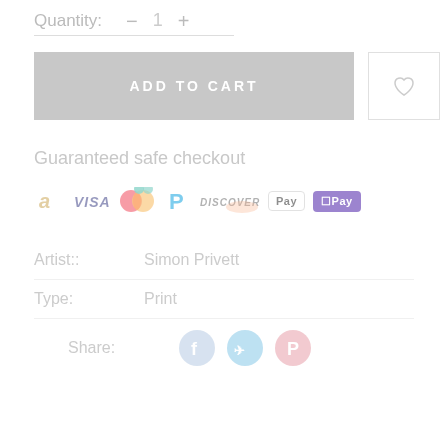Quantity:  −  1  +
ADD TO CART
Guaranteed safe checkout
[Figure (infographic): Payment method icons: Amazon, Visa, Mastercard, PayPal, Discover, Apple Pay, GPay]
Artist::   Simon Privett
Type:   Print
Share:
[Figure (infographic): Social share icons: Facebook, Twitter, Pinterest]